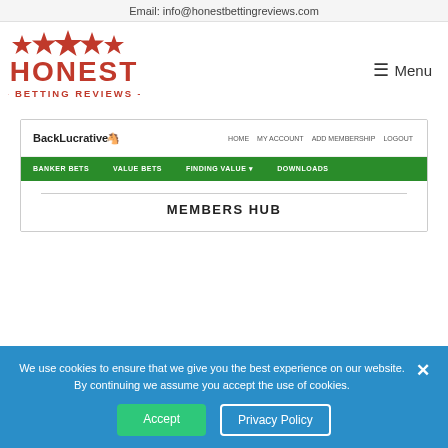Email: info@honestbettingreviews.com
[Figure (logo): Honest Betting Reviews logo with red stars and red text]
≡ Menu
[Figure (screenshot): Screenshot of BackLucrative members website showing navigation bar with BANKER BETS, VALUE BETS, FINDING VALUE, DOWNLOADS in green nav bar, and MEMBERS HUB heading]
We use cookies to ensure that we give you the best experience on our website. By continuing we assume you accept the use of cookies.
Accept
Privacy Policy